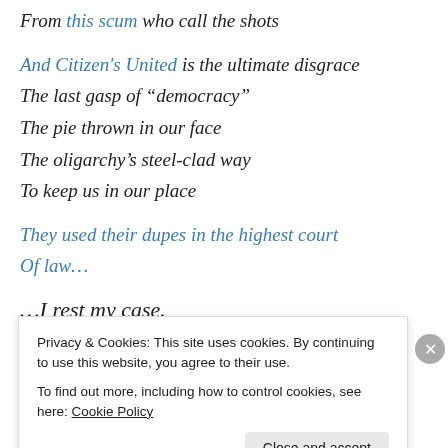From this scum who call the shots
And Citizen's United is the ultimate disgrace
The last gasp of “democracy”
The pie thrown in our face
The oligarchy’s steel-clad way
To keep us in our place
They used their dupes in the highest court
Of law…
…I rest my case.
Privacy & Cookies: This site uses cookies. By continuing to use this website, you agree to their use. To find out more, including how to control cookies, see here: Cookie Policy